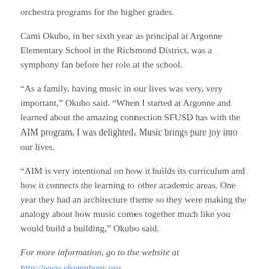orchestra programs for the higher grades.
Cami Okubo, in her sixth year as principal at Argonne Elementary School in the Richmond District, was a symphony fan before her role at the school.
“As a family, having music in our lives was very, very important,” Okubo said. “When I started at Argonne and learned about the amazing connection SFUSD has with the AIM program, I was delighted. Music brings pure joy into our lives.
“AIM is very intentional on how it builds its curriculum and how it connects the learning to other academic areas. One year they had an architecture theme so they were making the analogy about how music comes together much like you would build a building,” Okubo said.
For more information, go to the website at http://www.sfsymphony.org.
SHARE THIS: